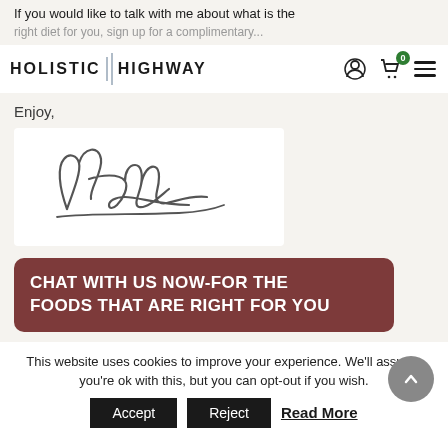If you would like to talk with me about what is the right diet for you, sign up for a complimentary...
HOLISTIC HIGHWAY
Enjoy,
[Figure (illustration): Handwritten cursive signature reading 'Kerry']
CHAT WITH US NOW-FOR THE FOODS THAT ARE RIGHT FOR YOU
This website uses cookies to improve your experience. We'll assume you're ok with this, but you can opt-out if you wish.
Accept
Reject
Read More